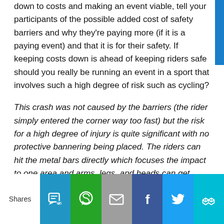down to costs and making an event viable, tell your participants of the possible added cost of safety barriers and why they're paying more (if it is a paying event) and that it is for their safety. If keeping costs down is ahead of keeping riders safe should you really be running an event in a sport that involves such a high degree of risk such as cycling?
This crash was not caused by the barriers (the rider simply entered the corner way too fast) but the risk for a high degree of injury is quite significant with no protective bannering being placed. The riders can hit the metal bars directly which focuses the impact to one area and arms, legs, and heads can get caught between the bars while the rider is still in motion.
[Figure (other): Social share bar with SMS, WhatsApp, Email, Facebook, Twitter, and crown icon buttons]